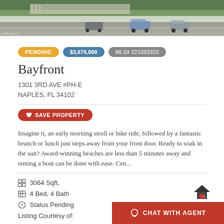[Figure (photo): Aerial/street view rendering of a luxury residential building with trees and cars on road]
PENDING | $3,676,800 | MLS# 221083320
Bayfront
1301 3RD AVE #PH-E
NAPLES, FL 34102
SAVE PROPERTY
Imagine it, an early morning stroll or bike ride, followed by a fantastic brunch or lunch just steps away from your front door. Ready to soak in the sun? Award-winning beaches are less than 5 minutes away and renting a boat can be done with ease. Cen...
3064 Sqft,
4 Bed, 4 Bath
Status Pending
Listing Courtesy of:
McQuaid & Company LLC
CHAT WITH AGENT